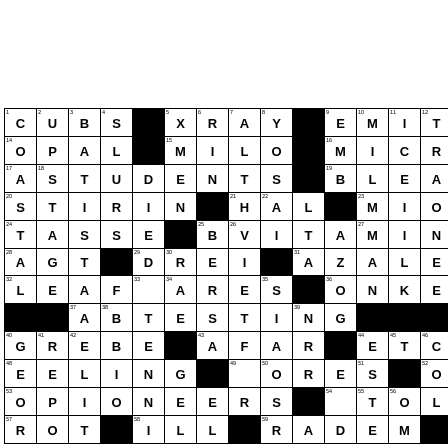[Figure (other): Partially visible crossword puzzle grid with filled-in answers. Visible answers include: CUBS, XRAY, EMITS, OPAL, MILO, MICRO, ASTUDENTS, BLEAT, STIRIN, HAL, MIO, TASSE, BVITAMINS, AGT, DREI, AZALEA, LEAF, ARES, ONKEY, ABTESTING, GREBE, AFAR, ETCH, EELING, ORES, ORO, OPIONEERS, TOLET, and partial row 57 with ROT, ILL, RADEM. Black squares separate words. Small clue numbers appear in upper-left corners of cells.]